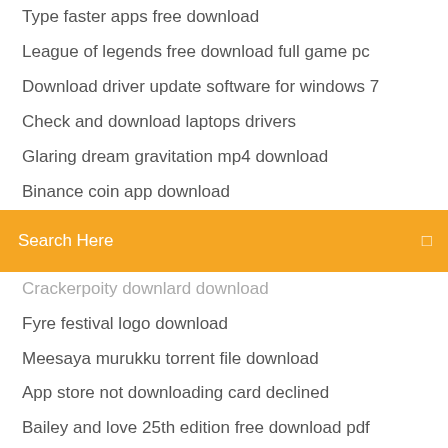Type faster apps free download
League of legends free download full game pc
Download driver update software for windows 7
Check and download laptops drivers
Glaring dream gravitation mp4 download
Binance coin app download
[Figure (screenshot): Orange search bar with text 'Search Here' and a search icon on the right]
Crackerpoity downlard download
Fyre festival logo download
Meesaya murukku torrent file download
App store not downloading card declined
Bailey and love 25th edition free download pdf
Ncert class 10 all civics notes pdf download
Cydia full version download ios 12 free
Respondus lockdown browser and webcam download for mac
Windows 7 device drivers download
Downloads for new pc reddit